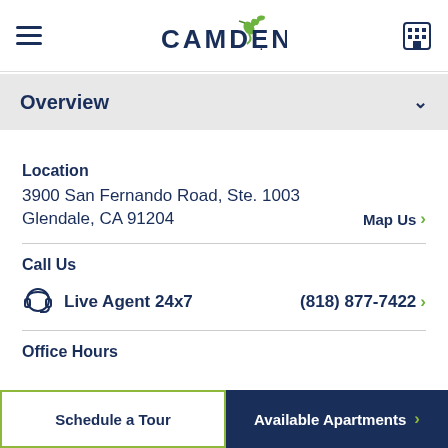Camden (logo with hummingbird)
Overview
Location
3900 San Fernando Road, Ste. 1003
Glendale, CA 91204
Map Us >
Call Us
Live Agent 24x7    (818) 877-7422 >
Office Hours